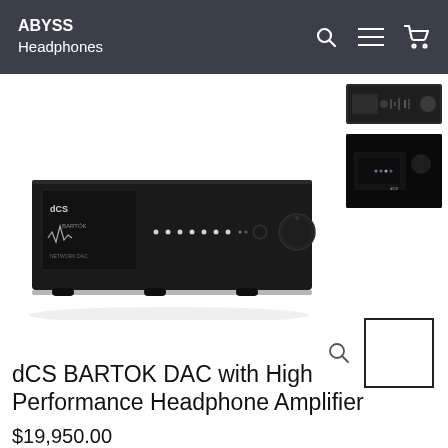ABYSS Headphones
[Figure (photo): Thumbnail image of dCS BARTOK DAC front panel, small dark rectangular device on white/grey background]
[Figure (photo): Thumbnail image of dCS BARTOK DAC lit display panel closeup, dark image with blue indicator lights]
[Figure (photo): Main product image of dCS BARTOK DAC with High Performance Headphone Amplifier - large black rectangular chassis with illuminated dot-matrix display on front panel, volume knob on right, shown on white background]
dCS BARTOK DAC with High Performance Headphone Amplifier
$19,950.00